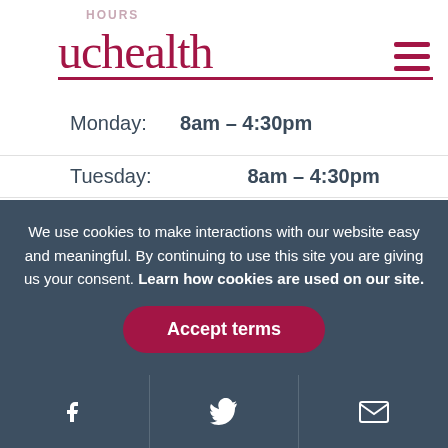Hours
[Figure (logo): UCHealth logo with red underline and hamburger menu icon]
| Day | Hours |
| --- | --- |
| Monday: | 8am – 4:30pm |
| Tuesday: | 8am – 4:30pm |
| Wednesday: | 8am – 4:30pm |
| Thursday: | 8am – 4:30pm |
| Friday: | 8am – 4:30pm |
| Saturday: | Closed |
| Sunday: | Closed |
We use cookies to make interactions with our website easy and meaningful. By continuing to use this site you are giving us your consent. Learn how cookies are used on our site.
Accept terms
Facebook | Twitter | Email